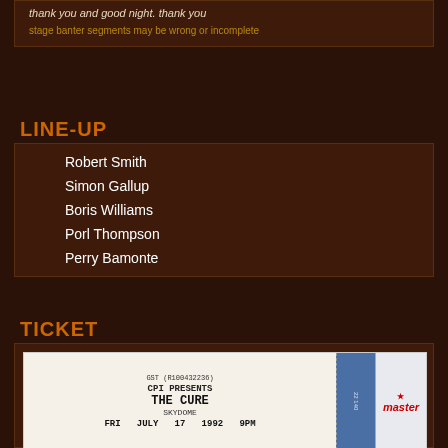thank you and good night. thank you
stage banter segments may be wrong or incomplete
LINE-UP
Robert Smith
Simon Gallup
Boris Williams
Porl Thompson
Perry Bamonte
TICKET
[Figure (photo): Concert ticket: GST (R100432236) CPI PRESENTS THE CURE SKYDOME FRI JULY 17 1992 9PM, with Ticketmaster logo on the right side]